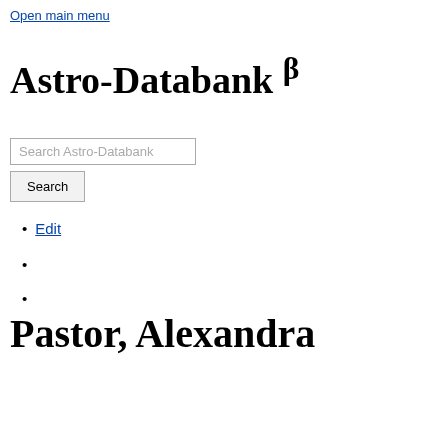Open main menu
Astro-Databank β
Search Astro-Databank [Search button]
Edit
Pastor, Alexandra